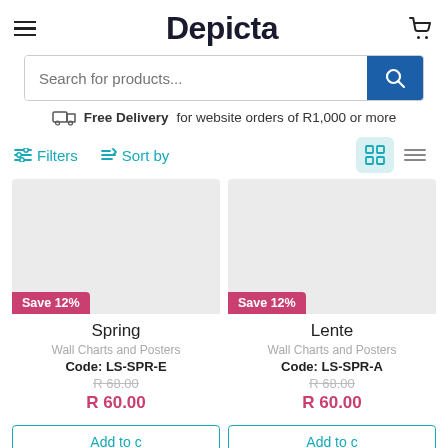Depicta
Search for products...
Free Delivery for website orders of R1,000 or more
Filters  Sort by
[Figure (screenshot): Product image placeholder for Spring (grey rectangle)]
Save 12%
Spring
Wall Charts and Posters
Code: LS-SPR-E
R 68.00
R 60.00
[Figure (screenshot): Product image placeholder for Lente (grey rectangle)]
Save 12%
Lente
Wall Charts and Posters
Code: LS-SPR-A
R 68.00
R 60.00